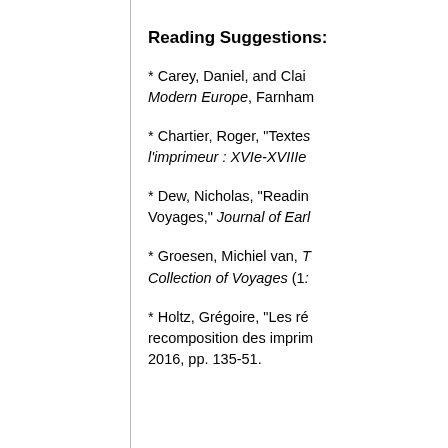Reading Suggestions:
* Carey, Daniel, and Clai... Modern Europe, Farnham...
* Chartier, Roger, "Textes... l'imprimeur : XVIe-XVIIIe...
* Dew, Nicholas, "Readin... Voyages," Journal of Ear...
* Groesen, Michiel van, T... Collection of Voyages (1...
* Holtz, Grégoire, "Les ré... recomposition des imprim... 2016, pp. 135-51.